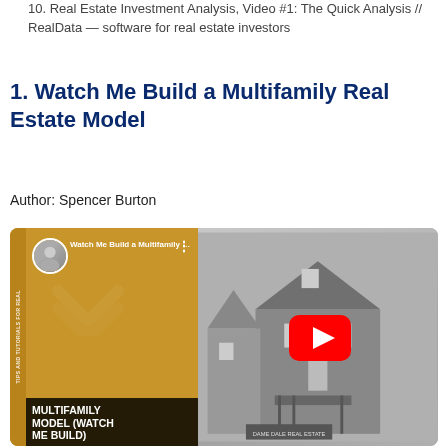10. Real Estate Investment Analysis, Video #1: The Quick Analysis // RealData — software for real estate investors
1. Watch Me Build a Multifamily Real Estate Model
Author: Spencer Burton
[Figure (screenshot): YouTube video thumbnail for 'Watch Me Build a Multifamily Real Es...' showing a split image: left side gold/yellow background with avatar, chevron logo, and black banner reading 'MULTIFAMILY MODEL (WATCH ME BUILD)', right side black-and-white photo of Victorian houses with YouTube play button overlay.]